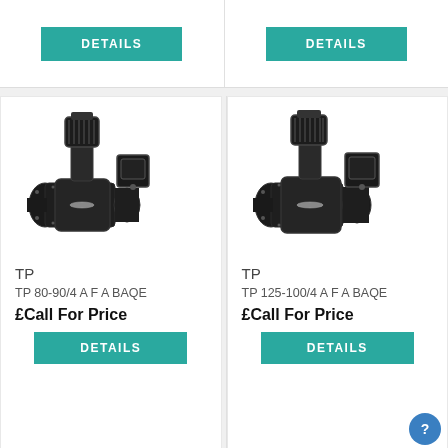[Figure (other): DETAILS button top left]
[Figure (other): DETAILS button top right]
[Figure (photo): Grundfos TP pump unit, black industrial inline pump with motor on top, model TP 80-90/4 A F A BAQE]
TP
TP 80-90/4 A F A BAQE
£Call For Price
[Figure (other): DETAILS button for TP 80-90/4 A F A BAQE]
[Figure (photo): Grundfos TP pump unit, black industrial inline pump with motor on top, model TP 125-100/4 A F A BAQE]
TP
TP 125-100/4 A F A BAQE
£Call For Price
[Figure (other): DETAILS button for TP 125-100/4 A F A BAQE]